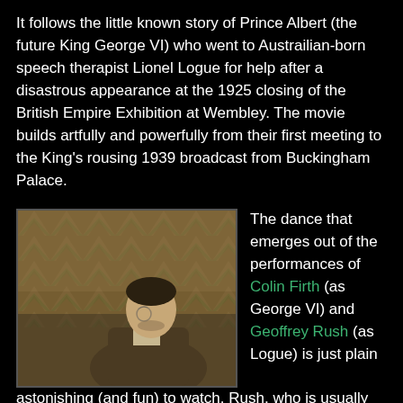It follows the little known story of Prince Albert (the future King George VI) who went to Austrailian-born speech therapist Lionel Logue for help after a disastrous appearance at the 1925 closing of the British Empire Exhibition at Wembley. The movie builds artfully and powerfully from their first meeting to the King's rousing 1939 broadcast from Buckingham Palace.
[Figure (photo): A man in a brown striped jacket, head bowed, standing in front of a decorative chevron/zigzag patterned wall in warm orange and green tones.]
The dance that emerges out of the performances of Colin Firth (as George VI) and Geoffrey Rush (as Logue) is just plain astonishing (and fun) to watch. Rush, who is usually Shakespearean-showy, is remarkable--tender and authentic. The film closes with his gaze, and in a way, the story, and the audience's sympathies, belong to him. It's one of the finest supporting performances I can think of in recent memory.